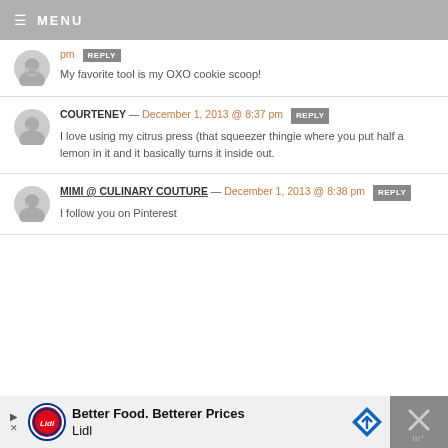≡ MENU
pm  REPLY
My favorite tool is my OXO cookie scoop!
COURTENEY — December 1, 2013 @ 8:37 pm  REPLY
I love using my citrus press (that squeezer thingie where you put half a lemon in it and it basically turns it inside out.
MIMI @ CULINARY COUTURE — December 1, 2013 @ 8:38 pm  REPLY
I follow you on Pinterest
[Figure (other): Advertisement banner for Lidl: 'Better Food. Betterer Prices Lidl']